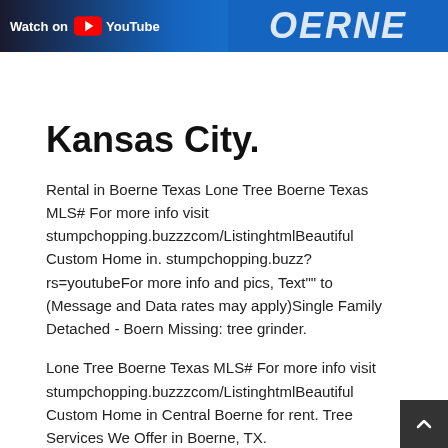[Figure (screenshot): YouTube video banner showing 'Watch on YouTube' text with YouTube logo and a blue sign/billboard in the background]
Kansas City.
Rental in Boerne Texas Lone Tree Boerne Texas MLS# For more info visit stumpchopping.buzzzcom/ListinghtmlBeautiful Custom Home in. stumpchopping.buzz?rs=youtubeFor more info and pics, Text"" to (Message and Data rates may apply)Single Family Detached - Boern Missing: tree grinder.
Lone Tree Boerne Texas MLS# For more info visit stumpchopping.buzzzcom/ListinghtmlBeautiful Custom Home in Central Boerne for rent. Tree Services We Offer in Boerne, TX.
One of the most frequent procedures our tree care company in Boerne, TX performs is tree trimming. Many of our customers use our tree removal services to make sure that their tree maintai its beautiful shape. In cases where trees are posing a possib